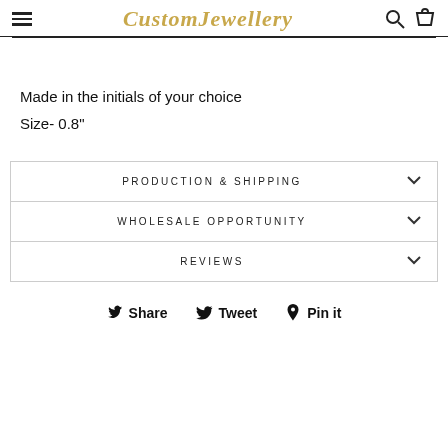CustomJewellery
Made in the initials of your choice
Size- 0.8"
PRODUCTION & SHIPPING
WHOLESALE OPPORTUNITY
REVIEWS
Share   Tweet   Pin it